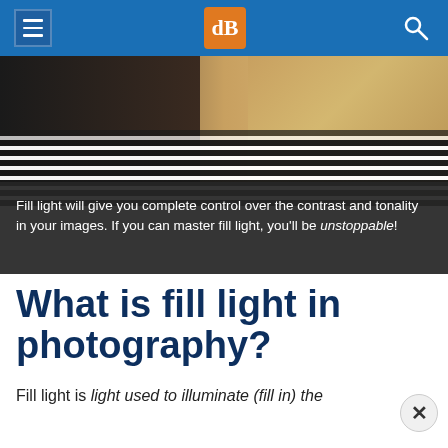dPS navigation bar with hamburger menu, dPS logo, and search icon
[Figure (photo): Partial view of a woman with blonde braided hair wearing a black and white striped top, photographed from behind/side]
Fill light will give you complete control over the contrast and tonality in your images. If you can master fill light, you'll be unstoppable!
What is fill light in photography?
Fill light is light used to illuminate (fill in) the